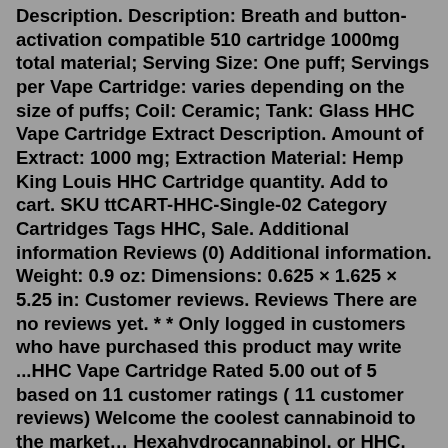Description. Description: Breath and button-activation compatible 510 cartridge 1000mg total material; Serving Size: One puff; Servings per Vape Cartridge: varies depending on the size of puffs; Coil: Ceramic; Tank: Glass HHC Vape Cartridge Extract Description. Amount of Extract: 1000 mg; Extraction Material: Hemp King Louis HHC Cartridge quantity. Add to cart. SKU ttCART-HHC-Single-02 Category Cartridges Tags HHC, Sale. Additional information Reviews (0) Additional information. Weight: 0.9 oz: Dimensions: 0.625 × 1.625 × 5.25 in: Customer reviews. Reviews There are no reviews yet. * * Only logged in customers who have purchased this product may write ...HHC Vape Cartridge Rated 5.00 out of 5 based on 11 customer ratings ( 11 customer reviews) Welcome the coolest cannabinoid to the market… Hexahydrocannabinol, or HHC. Sourcing the purest form of HHC in the market is why our HHC carts are the strongest, most potent in the industry.HHC Vape Cartridge - Venice Haze - 1 Gram. $ 39.95 - $ 49.95 —